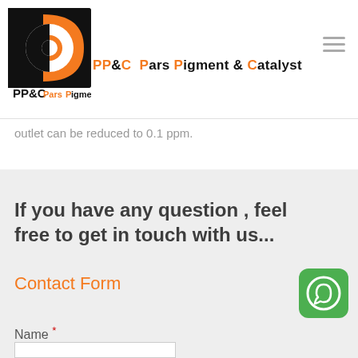[Figure (logo): PP&C Pars Pigment & Catalyst company logo with black and orange circular icon]
outlet can be reduced to 0.1 ppm.
If you have any question , feel free to get in touch with us...
Contact Form
Name *